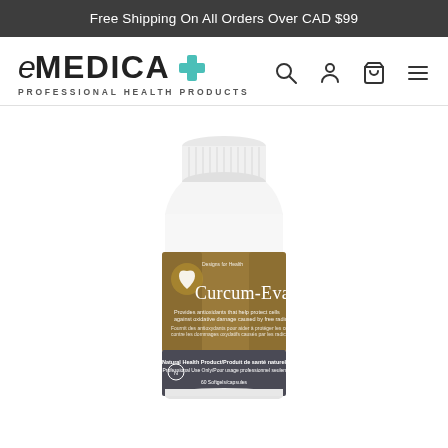Free Shipping On All Orders Over CAD $99
[Figure (logo): eMEDICA Professional Health Products logo with teal cross icon]
[Figure (photo): White supplement bottle with gold and grey label reading Curcum-Evail by Designs for Health, 60 softgels, Natural Health Product]